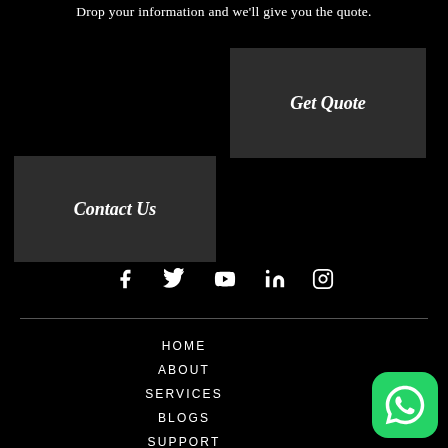Drop your information and we'll give you the quote.
[Figure (other): Get Quote dark button]
[Figure (other): Contact Us dark button]
[Figure (other): Social media icons: Facebook, Twitter, YouTube, LinkedIn, Instagram]
[Figure (other): Horizontal divider line]
HOME
ABOUT
SERVICES
BLOGS
SUPPORT
[Figure (other): WhatsApp green icon button]